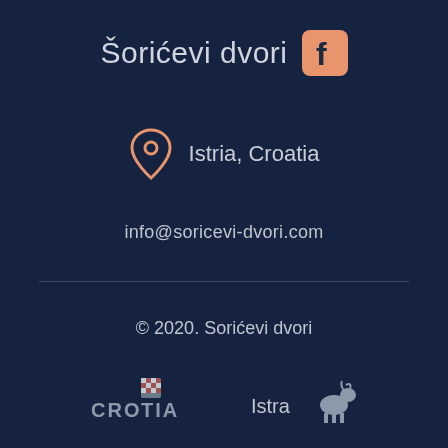Šorićevi dvori
Istria, Croatia
info@soricevi-dvori.com
© 2020. Sorićevi dvori
[Figure (logo): Croatia tourism logo with checkered shield pattern]
[Figure (logo): Istra tourism logo with goat illustration]
[Figure (logo): Istra bike logo with bicycle and green text]